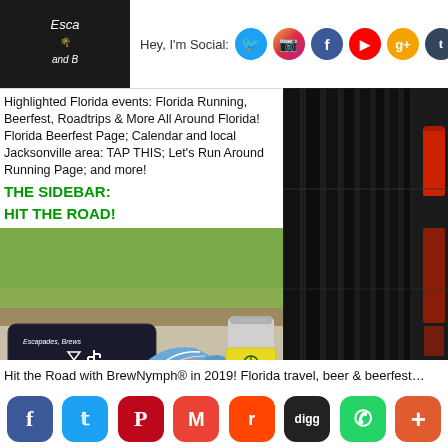Hey, I'm Social: [Twitter, Instagram, Facebook, YouTube, Google+, Tumblr, Pinterest, RSS]
Highlighted Florida events: Florida Running, Beerfest, Roadtrips & More All Around Florida! Florida Beerfest Page; Calendar and local Jacksonville area: TAP THIS; Let's Run Around Running Page; and more!
THE SIDEBAR:
HIT THE ROAD!
[Figure (photo): Running shoes, a dark bag with 'Escapades, Brews and Running Shoes' text, and a yellow koozie with 'Peace Love Pints' on a sidewalk with grass background. URL www.brewnymph.com visible.]
[Figure (photo): Dark outdoor chair/furniture with vertical slats, red drink visible on right side.]
Hit the Road with BrewNymph® in 2019! Florida travel, beer & beerfest...
[Social share buttons: Facebook, Twitter, Pinterest, Gmail, Reddit, Digg, WhatsApp, More]